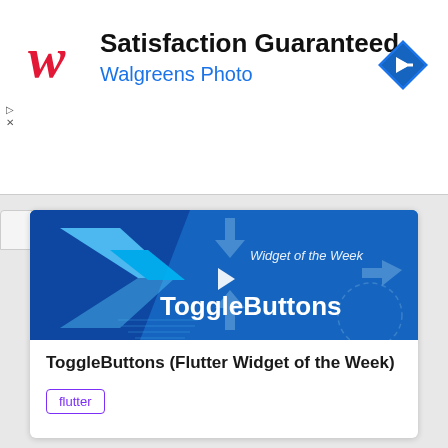[Figure (screenshot): Walgreens Photo advertisement banner with red cursive W logo, 'Satisfaction Guaranteed' title, 'Walgreens Photo' subtitle in blue, and a blue diamond navigation icon on the right.]
[Figure (screenshot): Flutter Widget of the Week video thumbnail showing 'ToggleButtons' text in white on a blue background with Flutter logo and arrow decorations, with a play button overlay.]
ToggleButtons (Flutter Widget of the Week)
flutter